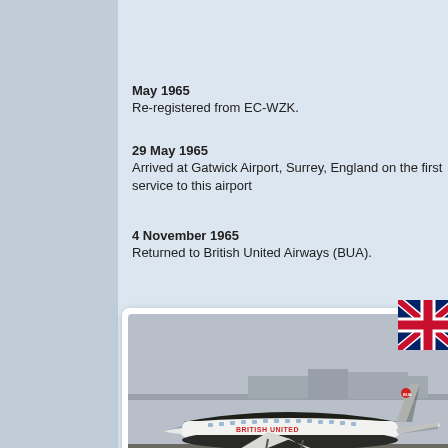May 1965
Re-registered from EC-WZK.
29 May 1965
Arrived at Gatwick Airport, Surrey, England on the first service to this airport
4 November 1965
Returned to British United Airways (BUA).
[Figure (photo): British United Airways propeller aircraft (Vickers Viscount) parked on airport tarmac, side view showing 'BRITISH UNITED' livery on fuselage]
4 November 1965
Returned from Aviaco lease and re-registered.
This aircraft was not repainted in the 'Sand and turquoise' livery.
13 February 1967
Sold to British Midland Airways (BMA).